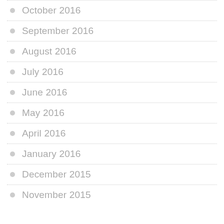October 2016
September 2016
August 2016
July 2016
June 2016
May 2016
April 2016
January 2016
December 2015
November 2015